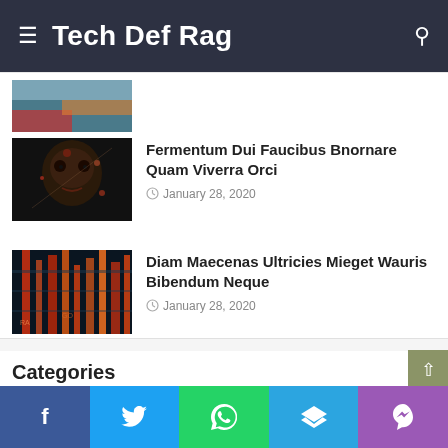Tech Def Rag
[Figure (photo): Partially visible image at top, appears to be a colorful painting (cropped)]
[Figure (photo): Dark portrait photo with abstract paint splatters on face]
Fermentum Dui Faucibus Bnornare Quam Viverra Orci
January 28, 2020
[Figure (photo): Neon red and orange vertical lights against dark teal background]
Diam Maecenas Ultricies Mieget Wauris Bibendum Neque
January 28, 2020
Categories